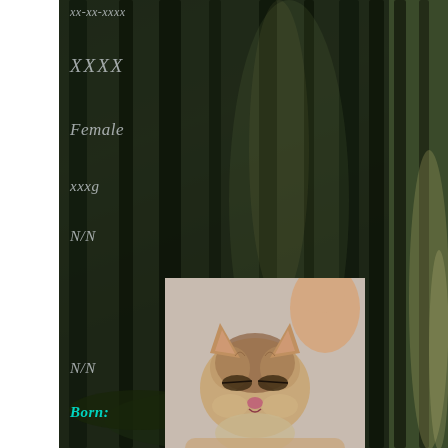xx-xx-xxxx
XXXX
Female
xxxg
N/N
[Figure (photo): Newborn kitten held in a human hand, front-face view, eyes closed]
[Figure (photo): Newborn kitten held in a human hand, side profile view]
N/N
Born: